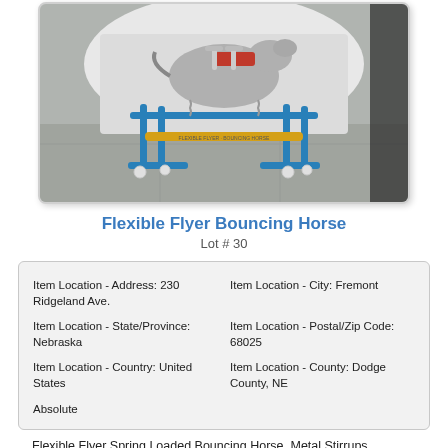[Figure (photo): Photo of a Flexible Flyer Bouncing Horse toy with blue metal frame and spring mechanism, sitting on a gray floor]
Flexible Flyer Bouncing Horse
Lot # 30
| Item Location - Address: 230 Ridgeland Ave. | Item Location - City: Fremont |
| Item Location - State/Province: Nebraska | Item Location - Postal/Zip Code: 68025 |
| Item Location - Country: United States | Item Location - County: Dodge County, NE |
| Absolute |  |
Flexible Flyer Spring Loaded Bouncing Horse, Metal Stirrups.
Sold for: USD 11.00